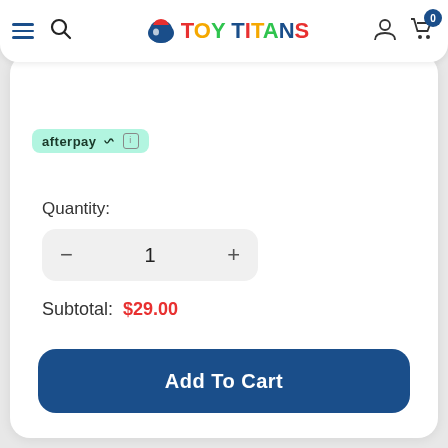[Figure (screenshot): ToyTitans e-commerce website header navigation bar with hamburger menu, search icon, ToyTitans logo, user icon, and cart icon with badge showing 0]
afterpay
Quantity:
1
Subtotal:  $29.00
Add To Cart
♥  Add To Wishlist